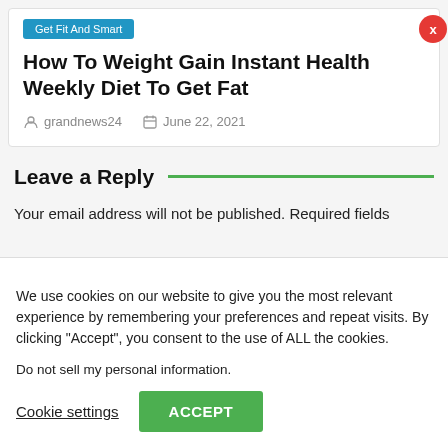Get Fit And Smart
How To Weight Gain Instant Health Weekly Diet To Get Fat
grandnews24   June 22, 2021
Leave a Reply
Your email address will not be published. Required fields
We use cookies on our website to give you the most relevant experience by remembering your preferences and repeat visits. By clicking “Accept”, you consent to the use of ALL the cookies.
Do not sell my personal information.
Cookie settings   ACCEPT